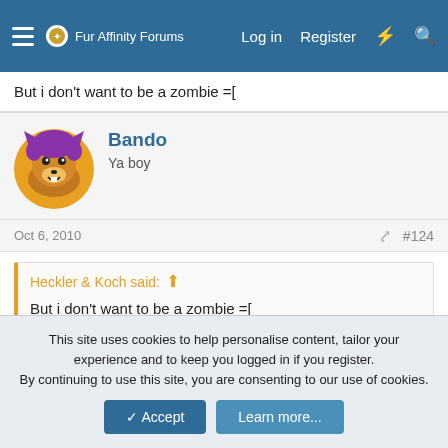Fur Affinity Forums — Log in | Register
But i don't want to be a zombie =[
Bando
Ya boy
Oct 6, 2010  #124
Heckler & Koch said:
But i don't want to be a zombie =[
Well your ass went bad, so you're just going to have to deal with it.
This site uses cookies to help personalise content, tailor your experience and to keep you logged in if you register.
By continuing to use this site, you are consenting to our use of cookies.